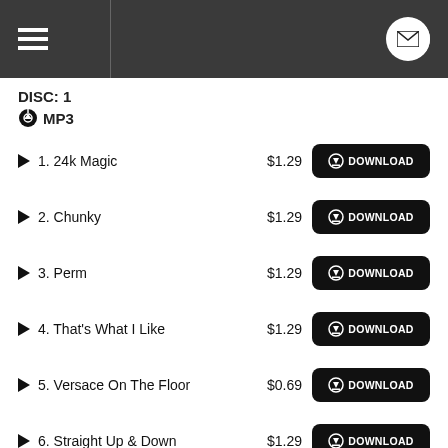Navigation header with menu and mail icon
DISC: 1
MP3
1. 24k Magic  $1.29  DOWNLOAD
2. Chunky  $1.29  DOWNLOAD
3. Perm  $1.29  DOWNLOAD
4. That's What I Like  $1.29  DOWNLOAD
5. Versace On The Floor  $0.69  DOWNLOAD
6. Straight Up & Down  $1.29  DOWNLOAD
7. Calling All My Lovelies  $1.29  DOWNLOAD
8. Finesse  $1.29  DOWNLOAD